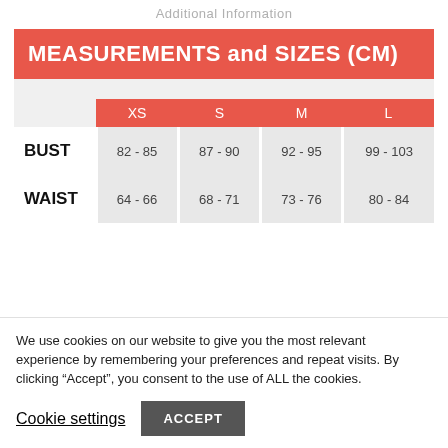Additional Information
|  | XS | S | M | L |
| --- | --- | --- | --- | --- |
| BUST | 82 - 85 | 87 - 90 | 92 - 95 | 99 - 103 |
| WAIST | 64 - 66 | 68 - 71 | 73 - 76 | 80 - 84 |
We use cookies on our website to give you the most relevant experience by remembering your preferences and repeat visits. By clicking “Accept”, you consent to the use of ALL the cookies.
Cookie settings
ACCEPT